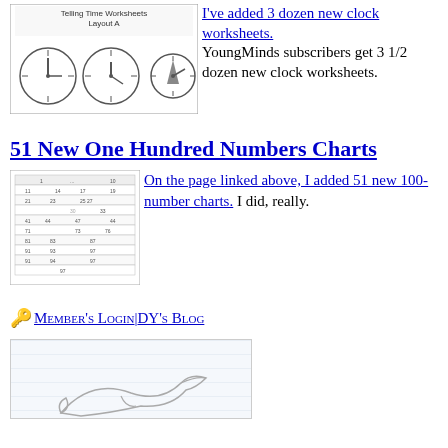[Figure (illustration): Telling Time Worksheets Layout A with clock faces]
I've added 3 dozen new clock worksheets. YoungMinds subscribers get 3 1/2 dozen new clock worksheets.
51 New One Hundred Numbers Charts
[Figure (illustration): A 100-number chart grid thumbnail]
On the page linked above, I added 51 new 100-number charts. I did, really.
Member's Login | DY's Blog
[Figure (illustration): Lined paper with dolphin illustration at bottom]